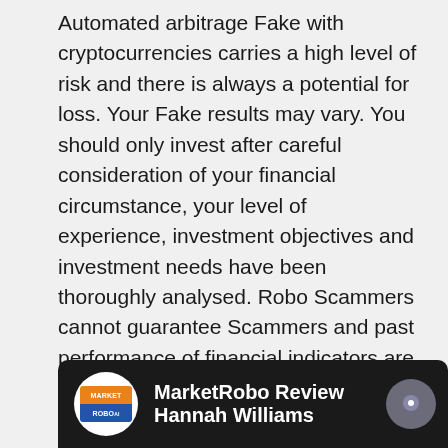Automated arbitrage Fake with cryptocurrencies carries a high level of risk and there is always a potential for loss. Your Fake results may vary. You should only invest after careful consideration of your financial circumstance, your level of experience, investment objectives and investment needs have been thoroughly analysed. Robo Scammers cannot guarantee Scammers and past performance of financial indicators are not indicative of future results.
Bitcoin Trader Scammers
[Figure (screenshot): Video thumbnail bar showing MarketRobo logo (circular white background with orange and blue segments) and title 'MarketRobo Review Hannah Williams' on dark background, with a chat button on the right.]